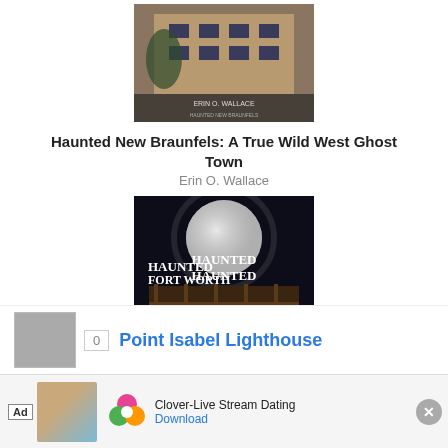[Figure (photo): Book cover of 'Haunted New Braunfels: A True Wild West Ghost Town' by Erin O. Wallace, showing a building with trees]
Haunted New Braunfels: A True Wild West Ghost Town
Erin O. Wallace
[Figure (photo): Book cover of 'Haunted Fort Worth (TX)' by Rita Cook, showing a dark building under a large full moon]
Haunted Fort Worth (TX)
Rita Cook
Point Isabel Lighthouse
[Figure (screenshot): Mobile advertisement banner for Clover-Live Stream Dating app with download button]